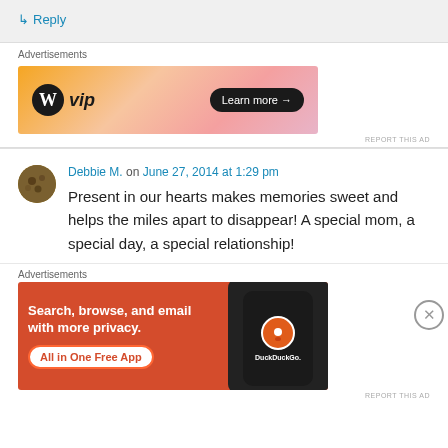↳ Reply
Advertisements
[Figure (screenshot): WordPress VIP advertisement banner with orange gradient background and 'Learn more →' button]
Debbie M. on June 27, 2014 at 1:29 pm
Present in our hearts makes memories sweet and helps the miles apart to disappear! A special mom, a special day, a special relationship!
Advertisements
[Figure (screenshot): DuckDuckGo advertisement: Search, browse, and email with more privacy. All in One Free App.]